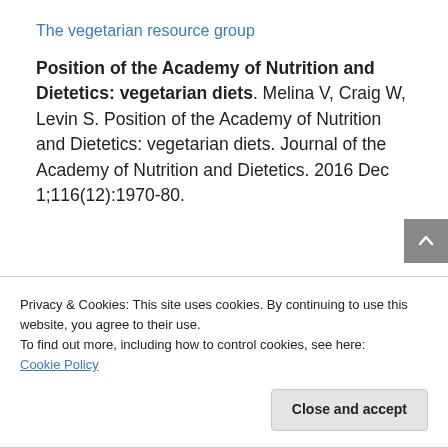The vegetarian resource group
Position of the Academy of Nutrition and Dietetics: vegetarian diets. Melina V, Craig W, Levin S. Position of the Academy of Nutrition and Dietetics: vegetarian diets. Journal of the Academy of Nutrition and Dietetics. 2016 Dec 1;116(12):1970-80.
Privacy & Cookies: This site uses cookies. By continuing to use this website, you agree to their use.
To find out more, including how to control cookies, see here: Cookie Policy